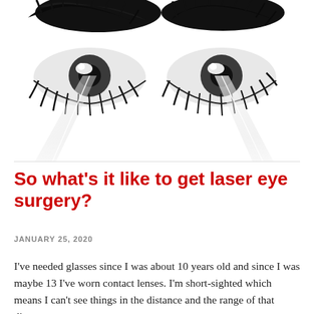[Figure (illustration): Black and white close-up illustration of two eyes with laser beams shooting downward from the pupils, dramatic eyelashes, high contrast graphic style]
So what’s it like to get laser eye surgery?
JANUARY 25, 2020
I’ve needed glasses since I was about 10 years old and since I was maybe 13 I’ve worn contact lenses. I’m short-sighted which means I can’t see things in the distance and the range of that distance got